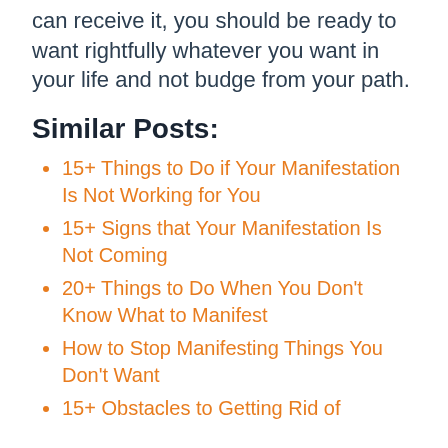can receive it, you should be ready to want rightfully whatever you want in your life and not budge from your path.
Similar Posts:
15+ Things to Do if Your Manifestation Is Not Working for You
15+ Signs that Your Manifestation Is Not Coming
20+ Things to Do When You Don't Know What to Manifest
How to Stop Manifesting Things You Don't Want
15+ Obstacles to Getting Rid of